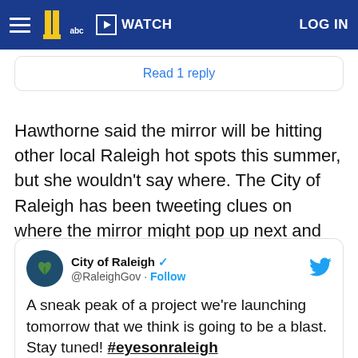WATCH  LOG IN
Read 1 reply
Hawthorne said the mirror will be hitting other local Raleigh hot spots this summer, but she wouldn't say where. The City of Raleigh has been tweeting clues on where the mirror might pop up next and said the mystery is all part of the fun.
City of Raleigh @RaleighGov · Follow
A sneak peak of a project we're launching tomorrow that we think is going to be a blast. Stay tuned! #eyesonraleigh